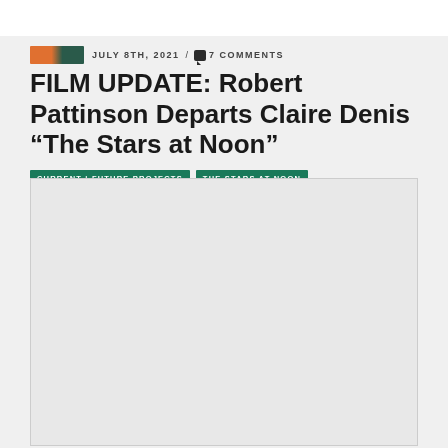JULY 8TH, 2021 / 7 COMMENTS
FILM UPDATE: Robert Pattinson Departs Claire Denis “The Stars at Noon”
CURRENT | FUTURE PROJECTS  THE STARS AT NOON
[Figure (photo): Large image placeholder box with light gray background and border]